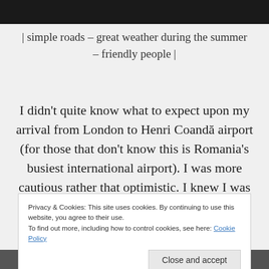[Figure (photo): Dark/black image strip at top of page]
| simple roads – great weather during the summer – friendly people |
I didn't quite know what to expect upon my arrival from London to Henri Coandă airport (for those that don't know this is Romania's busiest international airport). I was more cautious rather that optimistic. I knew I was
Privacy & Cookies: This site uses cookies. By continuing to use this website, you agree to their use.
To find out more, including how to control cookies, see here: Cookie Policy
Close and accept
[Figure (photo): Dark image strip at bottom of page showing buildings/architecture]